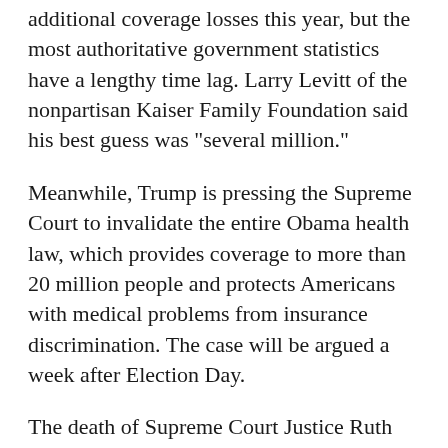additional coverage losses this year, but the most authoritative government statistics have a lengthy time lag. Larry Levitt of the nonpartisan Kaiser Family Foundation said his best guess was "several million."
Meanwhile, Trump is pressing the Supreme Court to invalidate the entire Obama health law, which provides coverage to more than 20 million people and protects Americans with medical problems from insurance discrimination. The case will be argued a week after Election Day.
The death of Supreme Court Justice Ruth Bader Ginsburg has added another layer of uncertainty. Without Ginsburg, there is no longer a majority of five justices who previously had voted to uphold the ACA.
Democrats have...